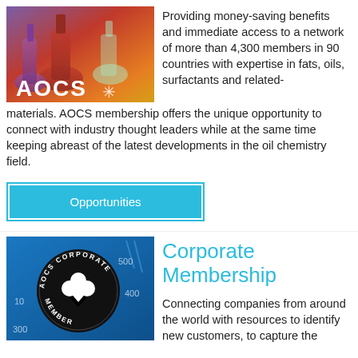[Figure (photo): AOCS branded image showing laboratory glassware (flasks) with colorful liquids and the AOCS logo with snowflake-style icon in white text overlay.]
Providing money-saving benefits and immediate access to a network of more than 4,300 members in 90 countries with expertise in fats, oils, surfactants and related-materials. AOCS membership offers the unique opportunity to connect with industry thought leaders while at the same time keeping abreast of the latest developments in the oil chemistry field.
Opportunities
[Figure (logo): AOCS Corporate Member circular logo badge in black and white with a trefoil/clover symbol at center, on a blue scientific instrument background.]
Corporate Membership
Connecting companies from around the world with resources to identify new customers, to capture the